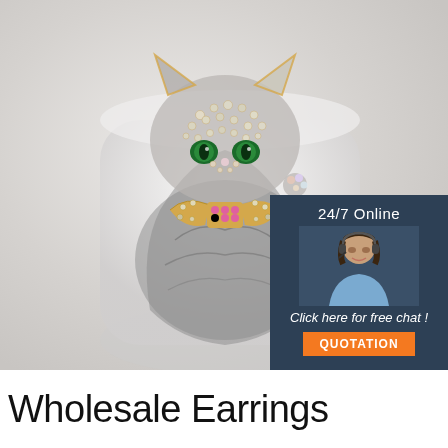[Figure (photo): A decorative rhinestone cat brooch/keychain with gold bow tie and green crystal eyes, displayed against a white/grey background]
[Figure (photo): Customer service agent - smiling woman with headset, dark hair, blue shirt, on dark blue background with '24/7 Online' text and 'Click here for free chat!' and 'QUOTATION' button]
[Figure (logo): TOP logo with orange triangle/arch shape and orange dots above 'TOP' text in orange]
Wholesale Earrings